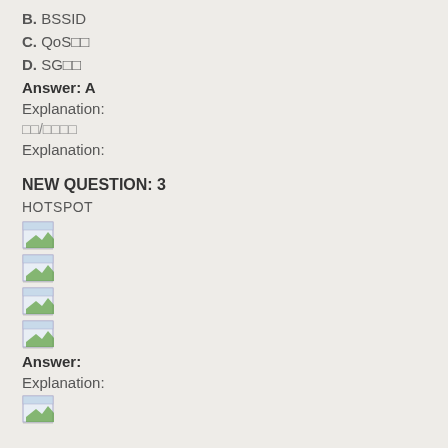B. BSSID
C. QoS□□
D. SG□□
Answer: A
Explanation:
□□/□□□□
Explanation:
NEW QUESTION: 3
HOTSPOT
[Figure (other): Broken image placeholder 1]
[Figure (other): Broken image placeholder 2]
[Figure (other): Broken image placeholder 3]
[Figure (other): Broken image placeholder 4]
Answer:
Explanation:
[Figure (other): Broken image placeholder 5]